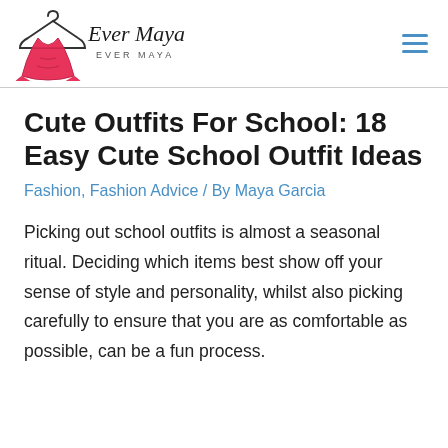Ever Maya logo and navigation
Cute Outfits For School: 18 Easy Cute School Outfit Ideas
Fashion, Fashion Advice / By Maya Garcia
Picking out school outfits is almost a seasonal ritual. Deciding which items best show off your sense of style and personality, whilst also picking carefully to ensure that you are as comfortable as possible, can be a fun process.